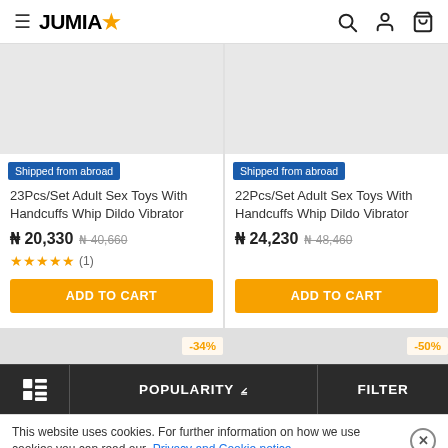JUMIA
[Figure (screenshot): Product card 1: 23Pcs/Set Adult Sex Toys With Handcuffs Whip Dildo Vibrator, ₦20,330, was ₦40,660, 5 stars (1 review)]
[Figure (screenshot): Product card 2: 22Pcs/Set Adult Sex Toys With Handcuffs Whip Dildo Vibrator, ₦24,230, was ₦48,460]
This website uses cookies. For further information on how we use cookies you can read our Privacy and Cookie notice